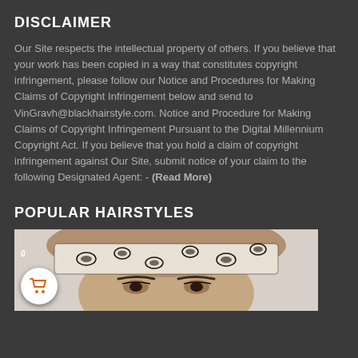DISCLAIMER
Our Site respects the intellectual property of others. If you believe that your work has been copied in a way that constitutes copyright infringement, please follow our Notice and Procedures for Making Claims of Copyright Infringement below and send to VinGravh@blackhairstyle.com. Notice and Procedure for Making Claims of Copyright Infringement Pursuant to the Digital Millennium Copyright Act. If you believe that you hold a claim of copyright infringement against Our Site, submit notice of your claim to the following Designated Agent: - (Read More)
POPULAR HAIRSTYLES
[Figure (photo): Photo of a woman wearing a patterned headband/scarf hairstyle, with visible face and eye makeup. A shopping cart icon with badge showing 0 is overlaid in the bottom-left corner.]